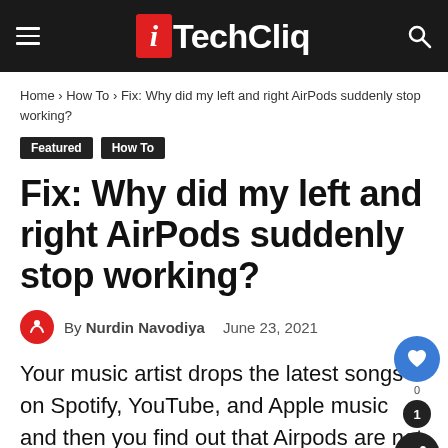iTechCliq
Home › How To › Fix: Why did my left and right AirPods suddenly stop working?
Featured   How To
Fix: Why did my left and right AirPods suddenly stop working?
By Nurdin Navodiya   June 23, 2021
Your music artist drops the latest songs on Spotify, YouTube, and Apple music and then you find out that Airpods are not working